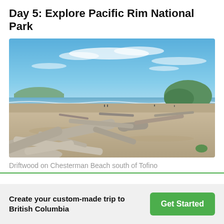Day 5: Explore Pacific Rim National Park
[Figure (photo): Beach scene at Chesterman Beach south of Tofino showing driftwood logs in the foreground on sandy beach, ocean waves in the middle distance, and a green tree-covered rocky headland on the right, under a partly cloudy blue sky.]
Driftwood on Chesterman Beach south of Tofino
Create your custom-made trip to British Columbia
Get Started